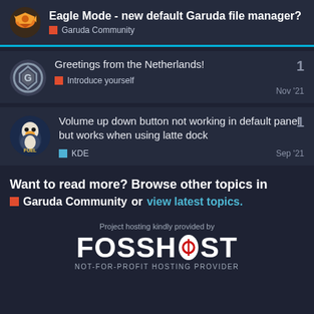Eagle Mode - new default Garuda file manager? — Garuda Community
Greetings from the Netherlands! — Introduce yourself — Nov '21 — 1 reply
Volume up down button not working in default panel but works when using latte dock — KDE — Sep '21 — 1 reply
Want to read more? Browse other topics in Garuda Community or view latest topics.
[Figure (logo): FOSSHOST logo with text 'Project hosting kindly provided by FOSSHOST NOT-FOR-PROFIT HOSTING PROVIDER']